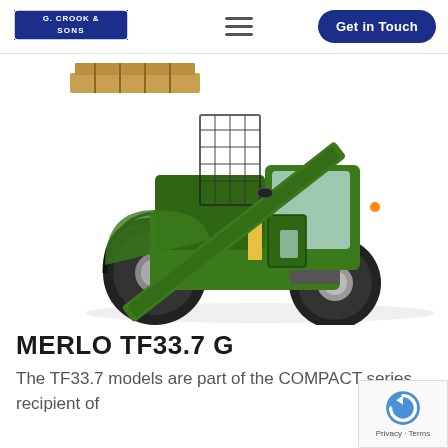G. CROOK & SONS | Get in Touch
[Figure (photo): Green Merlo TF33.7 G telehandler/telescopic forklift machine with large black tyres, green cab and extended boom arm carrying a pallet, shown on white background]
MERLO TF33.7 G
The TF33.7 models are part of the COMPACT series, recipient of the top industry federation award